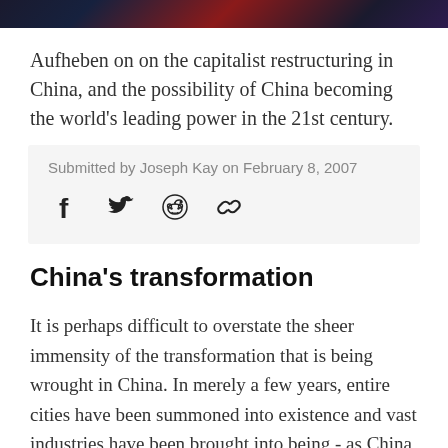[Figure (photo): Dark banner image with red and purple tones at top of page]
Aufheben on on the capitalist restructuring in China, and the possibility of China becoming the world's leading power in the 21st century.
Submitted by Joseph Kay on February 8, 2007
[Figure (other): Social sharing icons: Facebook, Twitter, Reddit, Link]
China’s transformation
It is perhaps difficult to overstate the sheer immensity of the transformation that is being wrought in China. In merely a few years, entire cities have been summoned into existence and vast industries have been brought into being - as China has emerged from being widely